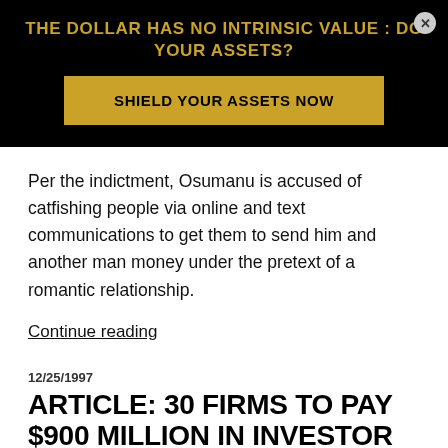THE DOLLAR HAS NO INTRINSIC VALUE : DO YOUR ASSETS?
SHIELD YOUR ASSETS NOW
Per the indictment, Osumanu is accused of catfishing people via online and text communications to get them to send him and another man money under the pretext of a romantic relationship.
Continue reading
12/25/1997
ARTICLE: 30 FIRMS TO PAY $900 MILLION IN INVESTOR SUIT
Article - Media
30 Firms to Pay $900 Million In Investor Suit